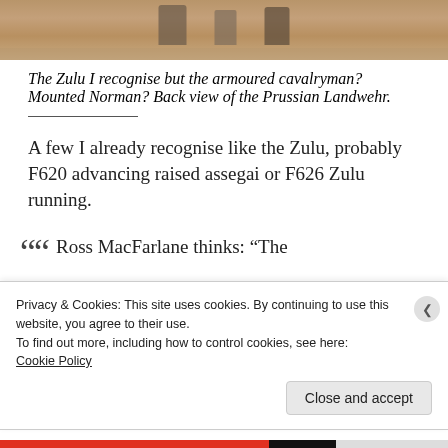[Figure (photo): Partial view of miniature soldier figures on a sandy/beige surface, cropped at top]
The Zulu I recognise but the armoured cavalryman? Mounted Norman? Back view of the Prussian Landwehr.
A few I already recognise like the Zulu, probably F620 advancing raised assegai or F626 Zulu running.
Ross MacFarlane thinks: “The
Privacy & Cookies: This site uses cookies. By continuing to use this website, you agree to their use.
To find out more, including how to control cookies, see here:
Cookie Policy